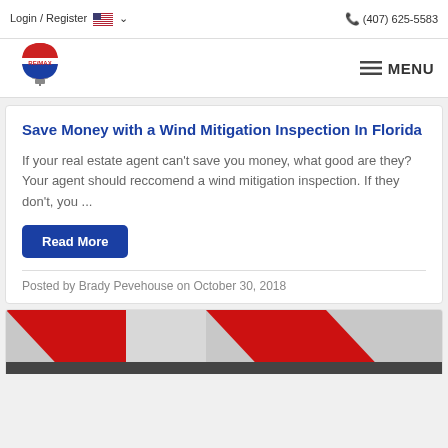Login / Register  (407) 625-5583
[Figure (logo): RE/MAX hot air balloon logo in red, white, and blue]
Save Money with a Wind Mitigation Inspection In Florida
If your real estate agent can't save you money, what good are they? Your agent should reccomend a wind mitigation inspection. If they don't, you ...
Read More
Posted by Brady Pevehouse on October 30, 2018
[Figure (photo): Partial view of a photo with red diagonal design elements on a grey background]